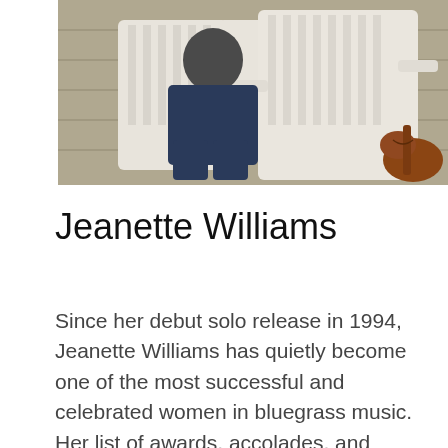[Figure (photo): A person sitting in a white Adirondack chair on a wooden porch or deck, wearing dark clothing, with a violin or fiddle visible in the lower right corner.]
Jeanette Williams
Since her debut solo release in 1994, Jeanette Williams has quietly become one of the most successful and celebrated women in bluegrass music. Her list of awards, accolades, and career highlights continues to grow, as does her adoring fan base. Jeanette burst onto the national scene in 1999 with her Doobie Shea Records release “Cherry Blossoms in the Springtime”, which spent 9